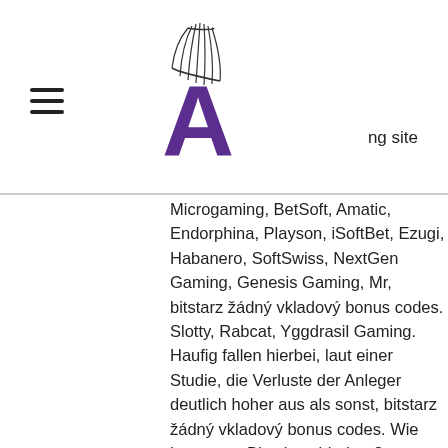ng site
Microgaming, BetSoft, Amatic, Endorphina, Playson, iSoftBet, Ezugi, Habanero, SoftSwiss, NextGen Gaming, Genesis Gaming, Mr, bitstarz žádný vkladový bonus codes. Slotty, Rabcat, Yggdrasil Gaming. Haufig fallen hierbei, laut einer Studie, die Verluste der Anleger deutlich hoher aus als sonst, bitstarz žádný vkladový bonus codes. Wie kann man Bitcoins abheben? Genauso wie die Einzahlung mit Bitcoin super glatt und einfach ist, so ist auch die Auszahlung mit der Kryptowahrung. Wie bei jeder Wahrung mussen Sie sich uber die Transaktionsgebuhren informieren, die das Online Casino erheben kann, bevor Sie eine Transaktion durchfuhren, da diese von Bitcoin Casino zu Casino variieren. Wenn